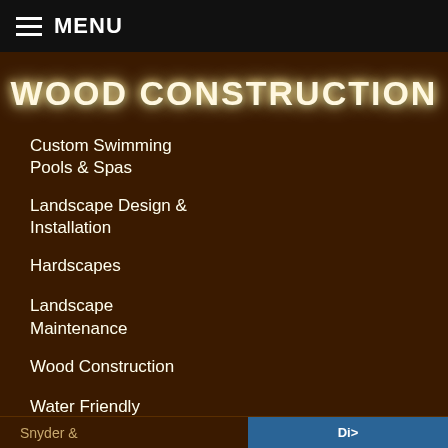MENU
WOOD CONSTRUCTION
Custom Swimming Pools & Spas
Landscape Design & Installation
Hardscapes
Landscape Maintenance
Wood Construction
Water Friendly Landscape
Snyder &